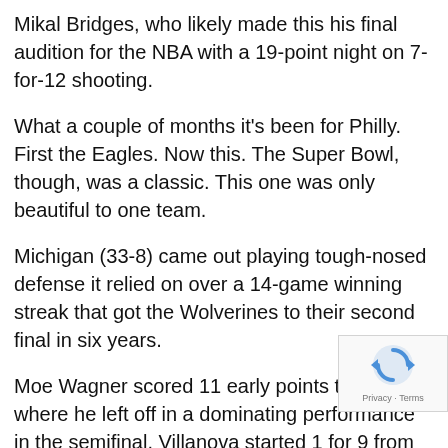Mikal Bridges, who likely made this his final audition for the NBA with a 19-point night on 7-for-12 shooting.
What a couple of months it's been for Philly. First the Eagles. Now this. The Super Bowl, though, was a classic. This one was only beautiful to one team.
Michigan (33-8) came out playing tough-nosed defense it relied on over a 14-game winning streak that got the Wolverines to their second final in six years.
Moe Wagner scored 11 early points to pick up where he left off in a dominating performance in the semifinal. Villanova started 1 for 9 from 3-point range. And yet, after DiVincenzo banged down a 3 from a step behind the arc for Villa second of the night, coach John Beilein looked at the scoreboard and saw his team behind, 23-21.